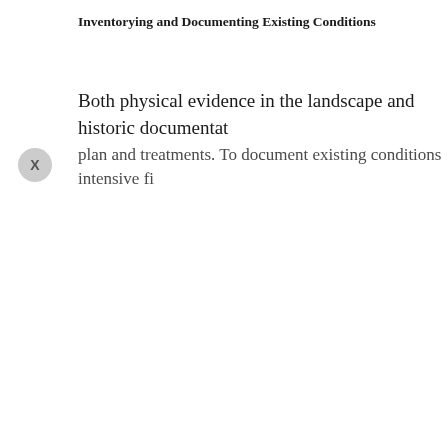Inventorying and Documenting Existing Conditions
Both physical evidence in the landscape and historic documentation plan and treatments. To document existing conditions intensive fi